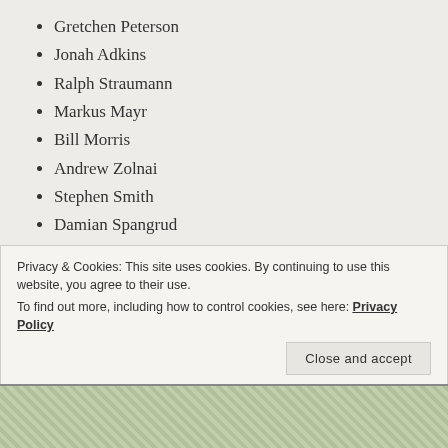Gretchen Peterson
Jonah Adkins
Ralph Straumann
Markus Mayr
Bill Morris
Andrew Zolnai
Stephen Smith
Damian Spangrud
Farheen Khanum
Christina Boggs
John Van Hoesen
Steven Romalewski
Privacy & Cookies: This site uses cookies. By continuing to use this website, you agree to their use. To find out more, including how to control cookies, see here: Privacy Policy
Close and accept